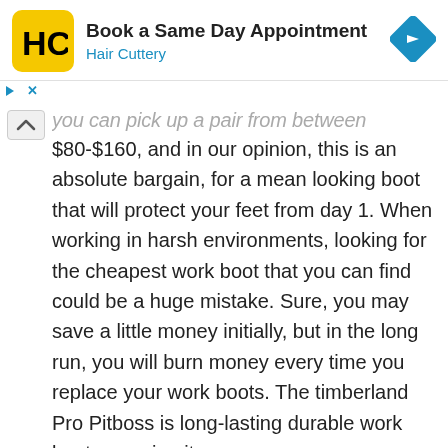[Figure (logo): Hair Cuttery advertisement banner with yellow HC logo, text 'Book a Same Day Appointment' and 'Hair Cuttery' in blue, and a blue diamond navigation icon]
you can pick up a pair from between $80-$160, and in our opinion, this is an absolute bargain, for a mean looking boot that will protect your feet from day 1. When working in harsh environments, looking for the cheapest work boot that you can find could be a huge mistake. Sure, you may save a little money initially, but in the long run, you will burn money every time you replace your work boots. The timberland Pro Pitboss is long-lasting durable work boot, meaning it saves you more money overall – this represents great value.